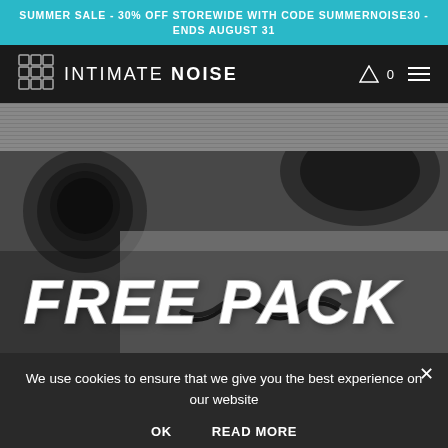SUMMER SALE - 30% OFF STOREWIDE WITH CODE SUMMERNOISE30 - ENDS AUGUST 31
[Figure (logo): Intimate Noise logo with geometric grid cube icon and navigation bar with cart icon and hamburger menu]
[Figure (photo): Black and white close-up photo of headphone ear cup on a textured rug with cable, overlaid with large bold italic text FREE PACK]
We use cookies to ensure that we give you the best experience on our website
OK    READ MORE
LATEST POSTS